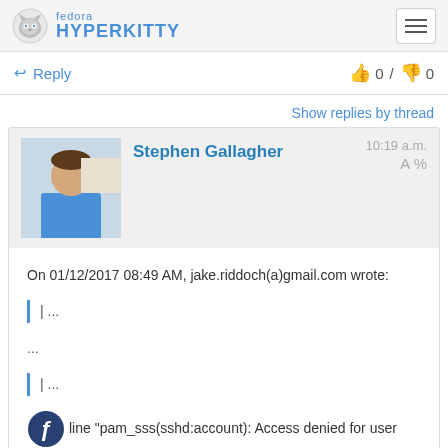fedora HYPERKITTY
↩ Reply   👍 0 / 👎 0
Show replies by thread
Stephen Gallagher   10:19 a.m.
On 01/12/2017 08:49 AM, jake.riddoch(a)gmail.com wrote:

| ...

...

| ...

line "pam_sss(sshd:account): Access denied for user bob: 6 (Permission